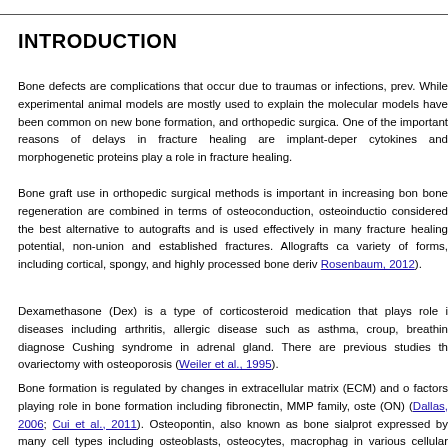INTRODUCTION
Bone defects are complications that occur due to traumas or infections, prev. While experimental animal models are mostly used to explain the molecular models have been common on new bone formation, and orthopedic surgica. One of the important reasons of delays in fracture healing are implant-depe cytokines and morphogenetic proteins play a role in fracture healing.
Bone graft use in orthopedic surgical methods is important in increasing bon bone regeneration are combined in terms of osteoconduction, osteoinductio considered the best alternative to autografts and is used effectively in many fracture healing potential, non-union and established fractures. Allografts ca variety of forms, including cortical, spongy, and highly processed bone deriv Rosenbaum, 2012).
Dexamethasone (Dex) is a type of corticosteroid medication that plays role i diseases including arthritis, allergic disease such as asthma, croup, breathin diagnose Cushing syndrome in adrenal gland. There are previous studies th ovariectomy with osteoporosis (Weiler et al., 1995).
Bone formation is regulated by changes in extracellular matrix (ECM) and o factors playing role in bone formation including fibronectin, MMP family, oste (ON) (Dallas, 2006; Cui et al., 2011). Osteopontin, also known as bone sialprot expressed by many cell types including osteoblasts, osteocytes, macrophag in various cellular events such as bone remodeling, maintenance of bone, in